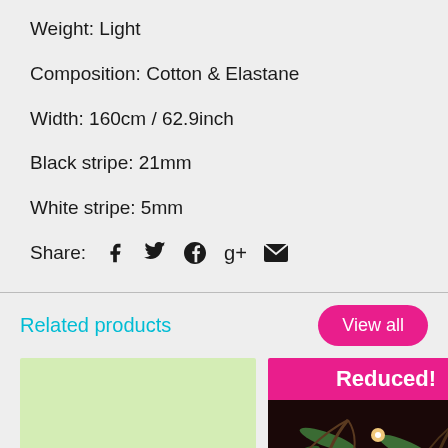Weight: Light
Composition: Cotton & Elastane
Width: 160cm / 62.9inch
Black stripe: 21mm
White stripe: 5mm
Share:
Related products
View all
[Figure (photo): Light green fabric swatch thumbnail]
[Figure (photo): Tropical floral fabric with 'Reduced!' banner overlay on dark background]